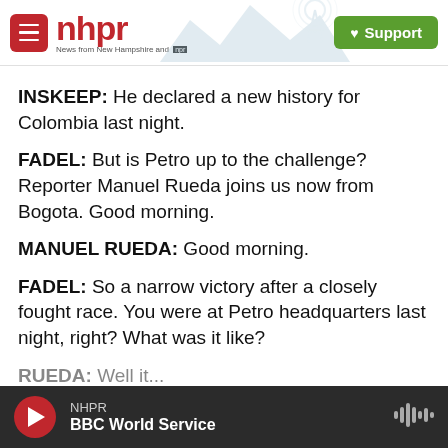[Figure (logo): NHPR logo with hamburger menu, scenic mountain/radio tower illustration, and green Support button]
INSKEEP: He declared a new history for Colombia last night.
FADEL: But is Petro up to the challenge? Reporter Manuel Rueda joins us now from Bogota. Good morning.
MANUEL RUEDA: Good morning.
FADEL: So a narrow victory after a closely fought race. You were at Petro headquarters last night, right? What was it like?
RUEDA: Well it...
NHPR BBC World Service